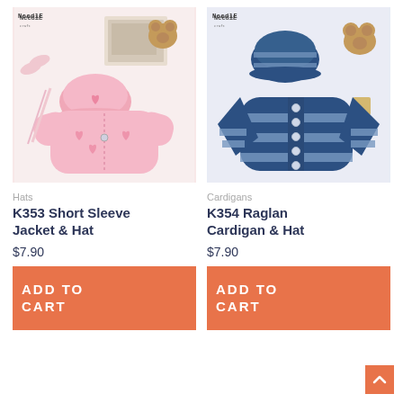[Figure (photo): Pink knitted baby short sleeve jacket and hat with decorative heart pattern, shown with a photo frame and stuffed bear on white background]
Hats
K353 Short Sleeve Jacket & Hat
$7.90
ADD TO CART
[Figure (photo): Navy blue and light blue striped raglan baby cardigan and hat with silver buttons, shown with wooden blocks and stuffed bear on white background]
Cardigans
K354 Raglan Cardigan & Hat
$7.90
ADD TO CART